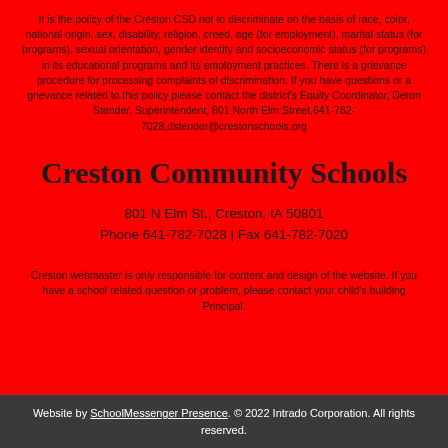It is the policy of the Creston CSD not to discriminate on the basis of race, color, national origin, sex, disability, religion, creed, age (for employment), marital status (for programs), sexual orientation, gender identity and socioeconomic status (for programs) in its educational programs and its employment practices. There is a grievance procedure for processing complaints of discrimination. If you have questions or a grievance related to this policy please contact the district's Equity Coordinator, Deron Stender, Superintendent, 801 North Elm Street,641-782-7028,dstender@crestonschools.org
Creston Community Schools
801 N Elm St., Creston, IA 50801
Phone 641-782-7028 | Fax 641-782-7020
Creston webmaster is only responsible for content and design of the website. If you have a school related question or problem, please contact your child's building Principal.
Website by SchoolMessenger Presence. © 2022 Intrado Corporation. All rights reserved.